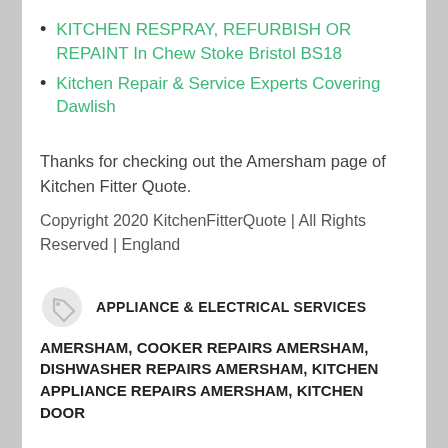KITCHEN RESPRAY, REFURBISH OR REPAINT In Chew Stoke Bristol BS18
Kitchen Repair & Service Experts Covering Dawlish
Thanks for checking out the Amersham page of Kitchen Fitter Quote.
Copyright 2020 KitchenFitterQuote | All Rights Reserved | England
APPLIANCE & ELECTRICAL SERVICES
AMERSHAM, COOKER REPAIRS AMERSHAM, DISHWASHER REPAIRS AMERSHAM, KITCHEN APPLIANCE REPAIRS AMERSHAM, KITCHEN DOOR